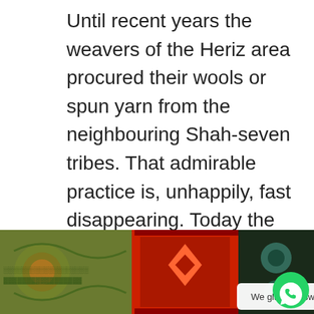Until recent years the weavers of the Heriz area procured their wools or spun yarn from the neighbouring Shah-seven tribes. That admirable practice is, unhappily, fast disappearing. Today the villagers buy their yarn ready spun in the bazaars of Tabriz or Ardebil.
[Figure (photo): Four rug/carpet images shown side by side in a horizontal strip: a green/brown floral rug, a red geometric rug, a dark teal/green rug, and an orange/teal rug. A WhatsApp chat bubble reads 'We gladly answer you.' with a WhatsApp icon button.]